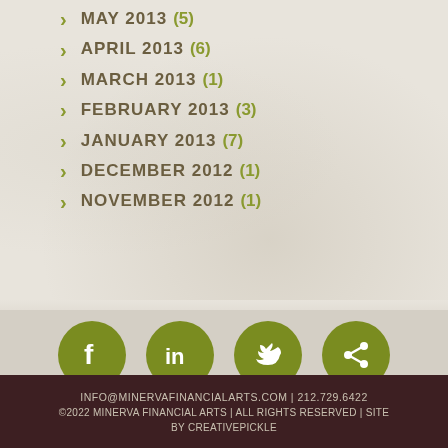MAY 2013 (5)
APRIL 2013 (6)
MARCH 2013 (1)
FEBRUARY 2013 (3)
JANUARY 2013 (7)
DECEMBER 2012 (1)
NOVEMBER 2012 (1)
[Figure (infographic): Four social media icons (Facebook, LinkedIn, Twitter, Share) in olive/green circular buttons]
INFO@MINERVAFINANCIALARTS.COM | 212.729.6422
©2022 MINERVA FINANCIAL ARTS | ALL RIGHTS RESERVED | SITE BY CREATIVEPICKLE